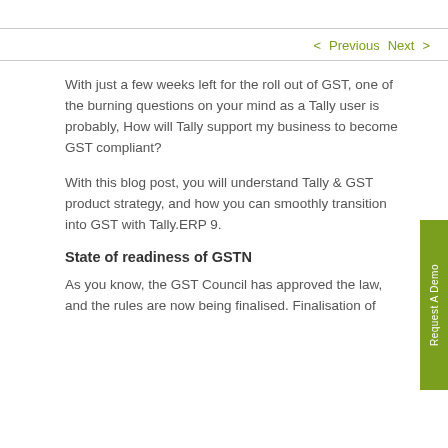< Previous   Next >
With just a few weeks left for the roll out of GST, one of the burning questions on your mind as a Tally user is probably, How will Tally support my business to become GST compliant?
With this blog post, you will understand Tally & GST product strategy, and how you can smoothly transition into GST with Tally.ERP 9.
State of readiness of GSTN
As you know, the GST Council has approved the law, and the rules are now being finalised. Finalisation of